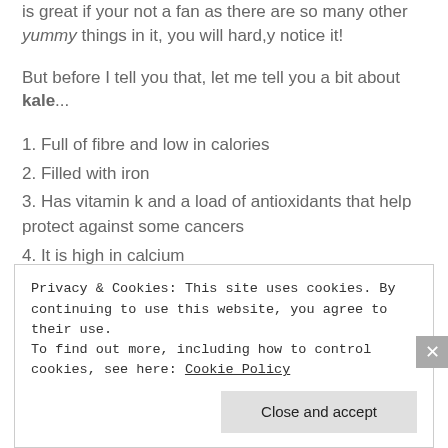is great if your not a fan as there are so many other yummy things in it, you will hard,y notice it!
But before I tell you that, let me tell you a bit about kale...
1. Full of fibre and low in calories
2. Filled with iron
3. Has vitamin k and a load of antioxidants that help protect against some cancers
4. It is high in calcium
5. High in vitamin c
6. Lastly a great detox food!
Privacy & Cookies: This site uses cookies. By continuing to use this website, you agree to their use. To find out more, including how to control cookies, see here: Cookie Policy
Close and accept